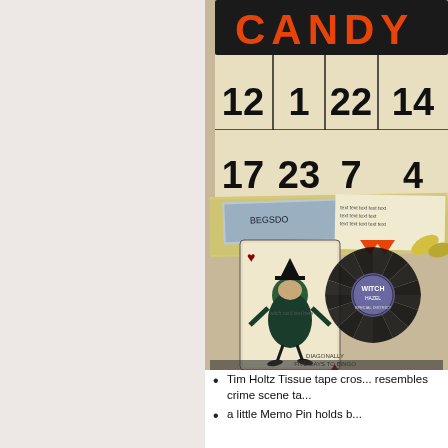[Figure (photo): A Halloween-themed craft/scrapbook page featuring a bingo card with orange 'CANDY' header, numbers 12, 1, 22, 14, 17, 23, 7 visible, decorated with a vintage witch girl playing card, black paper rosette flower with a 'WITCH' button, orange and black embellishments, layered ephemera and tissue tape. The card is mounted on layered patterned papers.]
Tim Holtz Tissue tape cros... resembles crime scene ta...
a little Memo Pin holds b...